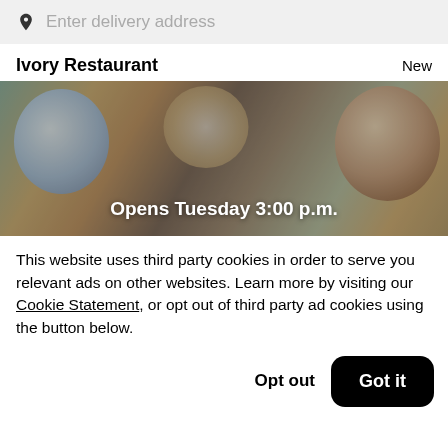Enter delivery address
Ivory Restaurant
New
[Figure (photo): Overhead view of food bowls with a text overlay reading 'Opens Tuesday 3:00 p.m.']
This website uses third party cookies in order to serve you relevant ads on other websites. Learn more by visiting our Cookie Statement, or opt out of third party ad cookies using the button below.
Opt out
Got it